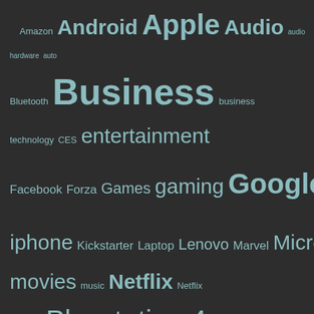[Figure (infographic): Tag cloud of technology topics with varying font sizes indicating popularity. Tags include: Amazon, Android, Apple, Audio, audio hardware, auto, Bluetooth, Business, business technology, CES, entertainment, Facebook, Forza, Games, gaming, Google, Headphones, iOS, iphone, Kickstarter, Laptop, Lenovo, Marvel, Microsoft, Mobile, movies, music, Netflix, Netflix Canada, Playstation 4, Privacy, Razer, Review, Reviews, Samsung, Security, Smartphone, Sony, Star Wars, tech, technology, TV, Windows 10, Xbox, Xbox One]
© 2013-2022 MagnaAquila Media. All Rights Reserved.
[Figure (infographic): Advertisement banner for Direct Relief: Help send medical aid to Ukraine >>]